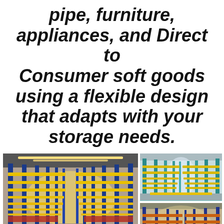pipe, furniture, appliances, and Direct to Consumer soft goods using a flexible design that adapts with your storage needs.
[Figure (photo): Interior of a large warehouse with blue vertical steel rack columns and yellow horizontal beams, viewed from a central aisle in perspective, with orange/red goods on lower shelves and bright yellow lighting overhead.]
[Figure (photo): Interior of a warehouse with tall teal/green vertical rack columns and horizontal shelves, viewed from the aisle, with bright central lighting.]
[Figure (photo): Interior of a warehouse with orange and blue steel racking systems, multiple shelf levels, viewed from the aisle at a slight angle.]